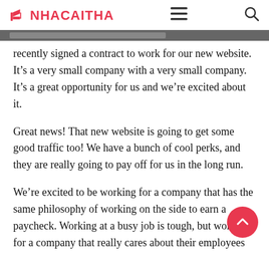NHACAITHA
recently signed a contract to work for our new website. It's a very small company with a very small company. It's a great opportunity for us and we're excited about it.
Great news! That new website is going to get some good traffic too! We have a bunch of cool perks, and they are really going to pay off for us in the long run.
We're excited to be working for a company that has the same philosophy of working on the side to earn a paycheck. Working at a busy job is tough, but working for a company that really cares about their employees is even more so. We have the opportunity to work for a company that values people over money and believes